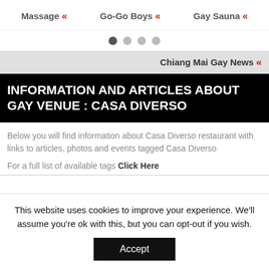Massage « Go-Go Boys « Gay Sauna «
• • • •
Chiang Mai Gay News «
INFORMATION AND ARTICLES ABOUT GAY VENUE : CASA DIVERSO
Below you will find information about Casa Diverso restaurant with links to articles, photos and events tagged Casa Diverso
For a full list of available tags Click Here
This website uses cookies to improve your experience. We'll assume you're ok with this, but you can opt-out if you wish. Accept